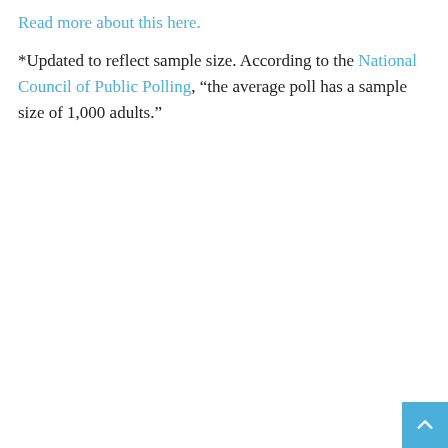Read more about this here.
*Updated to reflect sample size. According to the National Council of Public Polling, “the average poll has a sample size of 1,000 adults.”